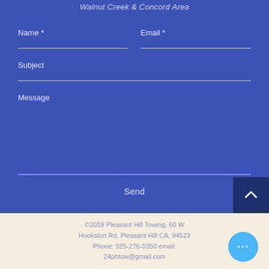Walnut Creek & Concord Area
Name *
Email *
Subject
Message
Send
©2018 Pleasant Hill Towing, 60 W Hookston Rd, Pleasant Hill CA, 94523 Phone: 925-276-0350 email: 24phtow@gmail.com